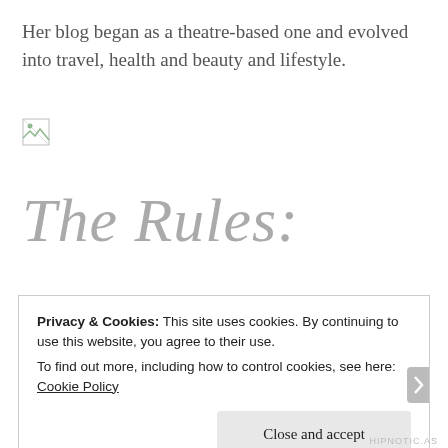Her blog began as a theatre-based one and evolved into travel, health and beauty and lifestyle.
[Figure (other): Broken image placeholder icon (small, top-left area)]
The Rules:
Privacy & Cookies: This site uses cookies. By continuing to use this website, you agree to their use.
To find out more, including how to control cookies, see here: Cookie Policy
Close and accept